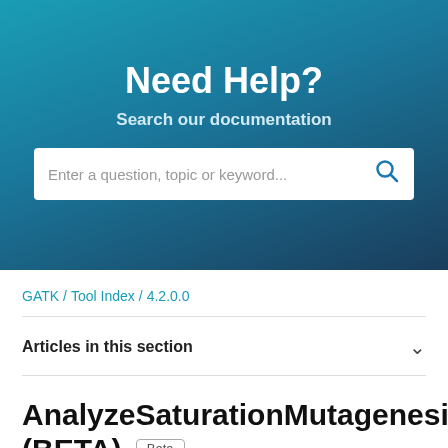Need Help?
Search our documentation
Enter a question, topic or keyword...
GATK / Tool Index / 4.2.0.0
Articles in this section
AnalyzeSaturationMutagenesis (BETA)